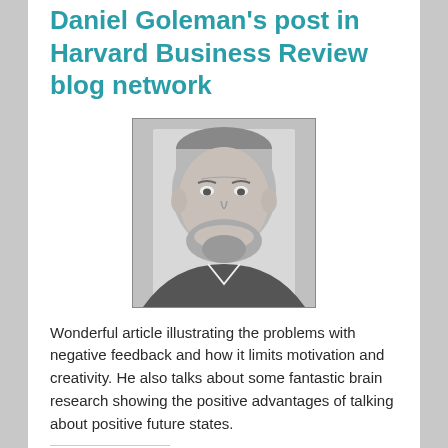Daniel Goleman's post in Harvard Business Review blog network
[Figure (photo): Black and white portrait photo of Daniel Goleman, a middle-aged man with a beard, smiling.]
Wonderful article illustrating the problems with negative feedback and how it limits motivation and creativity. He also talks about some fantastic brain research showing the positive advantages of talking about positive future states.
Share this:
Facebook  Twitter  LinkedIn  Email  More
Like
Be the first to like this.